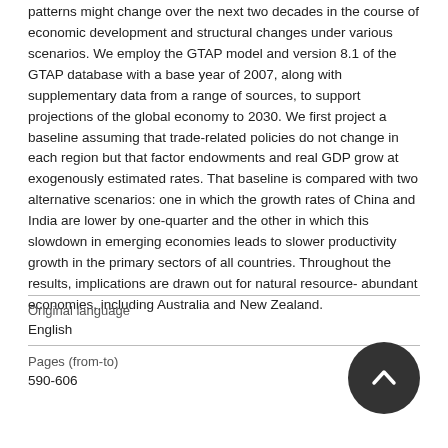patterns might change over the next two decades in the course of economic development and structural changes under various scenarios. We employ the GTAP model and version 8.1 of the GTAP database with a base year of 2007, along with supplementary data from a range of sources, to support projections of the global economy to 2030. We first project a baseline assuming that trade-related policies do not change in each region but that factor endowments and real GDP grow at exogenously estimated rates. That baseline is compared with two alternative scenarios: one in which the growth rates of China and India are lower by one-quarter and the other in which this slowdown in emerging economies leads to slower productivity growth in the primary sectors of all countries. Throughout the results, implications are drawn out for natural resource-abundant economies, including Australia and New Zealand.
| Original language |  |
| --- | --- |
| English |  |
| Pages (from-to) |  |
| 590-606 |  |